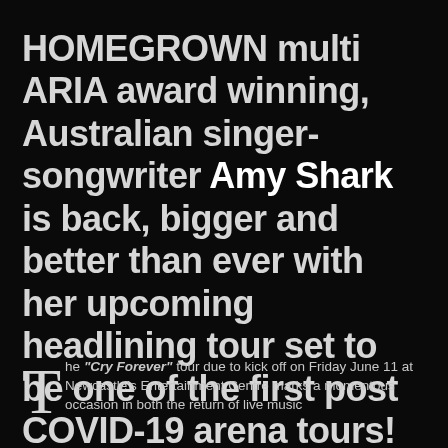HOMEGROWN multi ARIA award winning, Australian singer-songwriter Amy Shark is back, bigger and better than ever with her upcoming headlining tour set to be one of the first post COVID-19 arena tours!
The "Cry Forever" tour due to kick off on Friday June 11 at Newcastle's Entertainment Centre marks a momentous occasion in both the return of live music